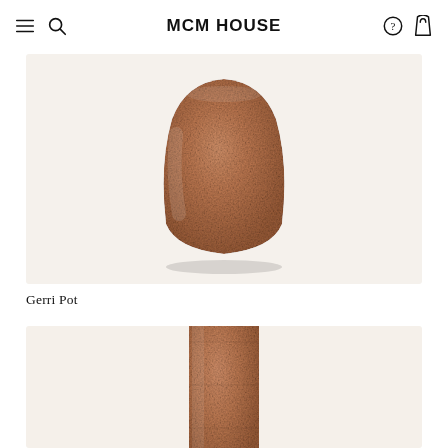MCM HOUSE
[Figure (photo): A terracotta rounded pot with textured matte surface, photographed on a warm off-white background. The pot is rounded at the top and narrows at the base.]
Gerri Pot
[Figure (photo): A tall cylindrical terracotta vase with textured matte surface, photographed on a warm off-white background. Only the upper portion of the vase is visible, cropped at the bottom of the page.]